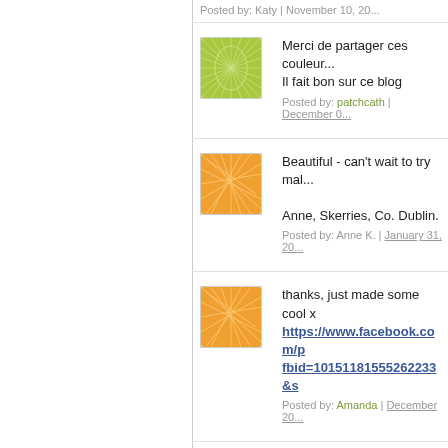Posted by: Katy | November 10, 20...
[Figure (illustration): Green geometric web pattern avatar]
Merci de partager ces couleur...
Il fait bon sur ce blog
Posted by: patchcath | December 0...
[Figure (illustration): Orange geometric web pattern avatar]
Beautiful - can't wait to try mal...
Anne, Skerries, Co. Dublin.
Posted by: Anne K. | January 31, 20...
[Figure (illustration): Orange geometric web pattern avatar]
thanks, just made some cool x
https://www.facebook.com/p
fbid=10151181555262233&s
Posted by: Amanda | December 20...
[Figure (illustration): Red/pink geometric web pattern avatar]
Hi Lucy,
A dear friend has just shared y...
I love your home, your heart a...
Thank you for the generosity y...